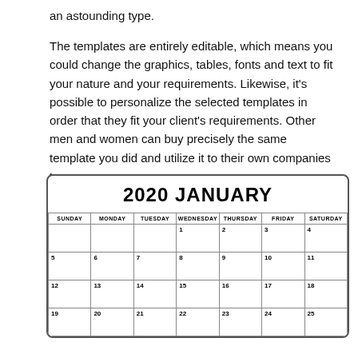an astounding type.
The templates are entirely editable, which means you could change the graphics, tables, fonts and text to fit your nature and your requirements. Likewise, it’s possible to personalize the selected templates in order that they fit your client’s requirements. Other men and women can buy precisely the same template you did and utilize it to their own companies too.
| SUNDAY | MONDAY | TUESDAY | WEDNESDAY | THURSDAY | FRIDAY | SATURDAY |
| --- | --- | --- | --- | --- | --- | --- |
|  |  |  | 1 | 2 | 3 | 4 |
| 5 | 6 | 7 | 8 | 9 | 10 | 11 |
| 12 | 13 | 14 | 15 | 16 | 17 | 18 |
| 19 | 20 | 21 | 22 | 23 | 24 | 25 |